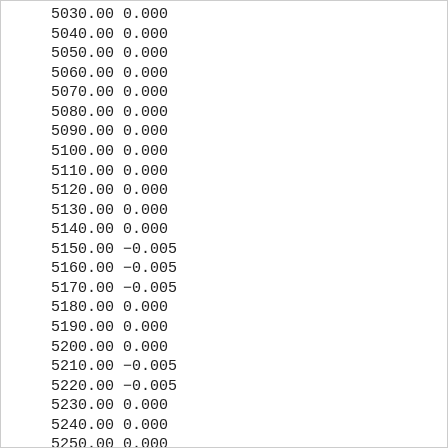| value1 | value2 |
| --- | --- |
| 5030.00 | 0.000 |
| 5040.00 | 0.000 |
| 5050.00 | 0.000 |
| 5060.00 | 0.000 |
| 5070.00 | 0.000 |
| 5080.00 | 0.000 |
| 5090.00 | 0.000 |
| 5100.00 | 0.000 |
| 5110.00 | 0.000 |
| 5120.00 | 0.000 |
| 5130.00 | 0.000 |
| 5140.00 | 0.000 |
| 5150.00 | -0.005 |
| 5160.00 | -0.005 |
| 5170.00 | -0.005 |
| 5180.00 | 0.000 |
| 5190.00 | 0.000 |
| 5200.00 | 0.000 |
| 5210.00 | -0.005 |
| 5220.00 | -0.005 |
| 5230.00 | 0.000 |
| 5240.00 | 0.000 |
| 5250.00 | 0.000 |
| 5260.00 | -0.005 |